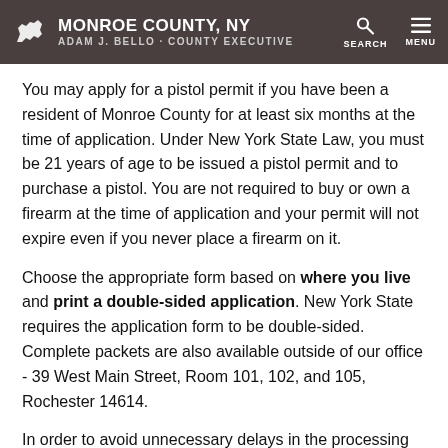MONROE COUNTY, NY — ADAM J. BELLO · COUNTY EXECUTIVE
You may apply for a pistol permit if you have been a resident of Monroe County for at least six months at the time of application. Under New York State Law, you must be 21 years of age to be issued a pistol permit and to purchase a pistol. You are not required to buy or own a firearm at the time of application and your permit will not expire even if you never place a firearm on it.
Choose the appropriate form based on where you live and print a double-sided application. New York State requires the application form to be double-sided. Complete packets are also available outside of our office - 39 West Main Street, Room 101, 102, and 105, Rochester 14614.
In order to avoid unnecessary delays in the processing of your application, please read and follow all instructions in the packet carefully and be sure to complete all forms before